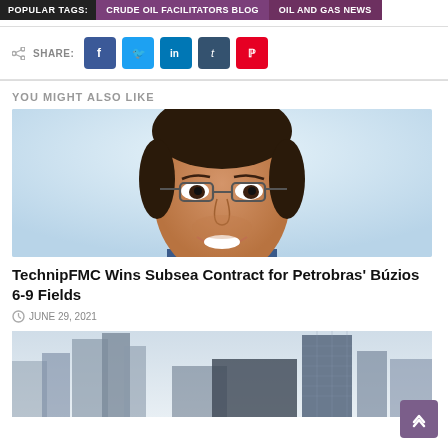POPULAR TAGS: | CRUDE OIL FACILITATORS BLOG | OIL AND GAS NEWS
SHARE: [Facebook] [Twitter] [LinkedIn] [Tumblr] [Pinterest]
YOU MIGHT ALSO LIKE
[Figure (photo): Portrait photo of a smiling man with glasses and short dark hair against a light blue background]
TechnipFMC Wins Subsea Contract for Petrobras' Búzios 6-9 Fields
JUNE 29, 2021
[Figure (photo): Cityscape photo showing modern high-rise office buildings against a light sky]